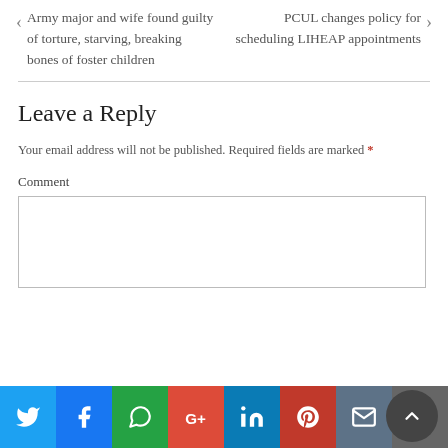‹ Army major and wife found guilty of torture, starving, breaking bones of foster children
PCUL changes policy for scheduling LIHEAP appointments ›
Leave a Reply
Your email address will not be published. Required fields are marked *
Comment